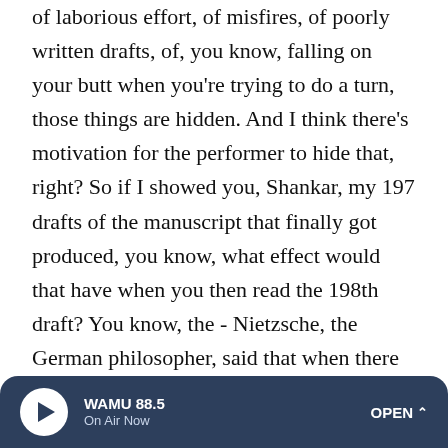of laborious effort, of misfires, of poorly written drafts, of, you know, falling on your butt when you're trying to do a turn, those things are hidden. And I think there's motivation for the performer to hide that, right? So if I showed you, Shankar, my 197 drafts of the manuscript that finally got produced, you know, what effect would that have when you then read the 198th draft? You know, the - Nietzsche, the German philosopher, said that when there is excellence, you know, if we know whence it became - right? - if we know its messy origins, we immediately grow cool, Nietzsche said. We want it to come out of the ground as if by magic. And I think the motivation from the performer has a parallel motivation from the audience. You know, why does the audience want to hide the effort? Here, Nietzsche had a very
[Figure (other): Audio player bar for WAMU 88.5 radio station with play button, station name, 'On Air Now' label, and 'OPEN' button]